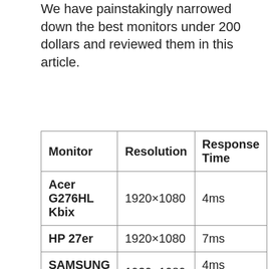We have painstakingly narrowed down the best monitors under 200 dollars and reviewed them in this article.
| Monitor | Resolution | Response Time |
| --- | --- | --- |
| Acer G276HL Kbix | 1920×1080 | 4ms |
| HP 27er | 1920×1080 | 7ms |
| SAMSUNG C27F398 | 1920×1080 | 4ms (GTG) |
| KOORUI |  |  |